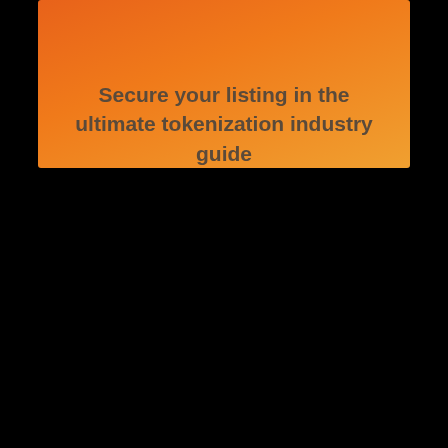[Figure (screenshot): Orange gradient banner with text 'Secure your listing in the ultimate tokenization industry guide']
Secure your listing in the ultimate tokenization industry guide
[Figure (screenshot): Token Tool by Bitbond logo with blue text and grid icon, followed by navigation bar showing 'Create ERC20 Token' and 'Manage Token' options]